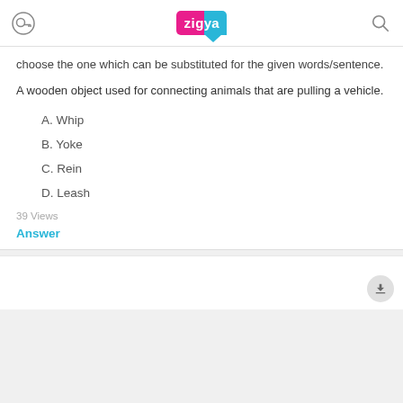Zigya
choose the one which can be substituted for the given words/sentence.
A wooden object used for connecting animals that are pulling a vehicle.
A. Whip
B. Yoke
C. Rein
D. Leash
39 Views
Answer